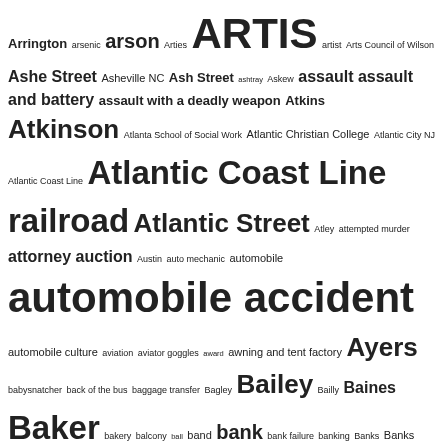[Figure (other): Tag cloud / word cloud showing index terms with varying font sizes indicating frequency/importance. Terms include: Arrington, arsenic, arson, Arties, ARTIS, artist, Arts Council of Wilson, Ashe Street, Asheville NC, Ash Street, ashtray, Askew, assault, assault and battery, assault with a deadly weapon, Atkins, Atkinson, Atlanta School of Social Work, Atlantic Christian College, Atlantic City NJ, Atlantic Coast Line, Atlantic Coast Line railroad, Atlantic Street, Atley, attempted murder, attorney, auction, Austin, auto mechanic, automobile, automobile accident, automobile culture, aviation, aviator goggles, award, awning and tent factory, Ayers, babysnatcher, back of the bus, baggage transfer, Bagley, Bailey, Bailly, Baines, Baker, bakery, balcony, ball, band, bank, bank failure, banking, Banks, Banks Street, Banner, baptism, baptismal font, Baptist church, Baptist minister, bar, barbecue, barber, barber shop, barbershop, Barbour, Barden, Barefoot, Barnes, Barnes Street, Barnett, Barron, Barton College, baseball, baseball stadium, basic training, basketball, Bass, bastardy action, batboy, bat boy, Batey, Battie, Battle, battle flag, Battle of Carrizal, Batts, Batts Brothers & Artis, bazaar, BB&T, Beamon, bear, Beaufort County NC, beauty]